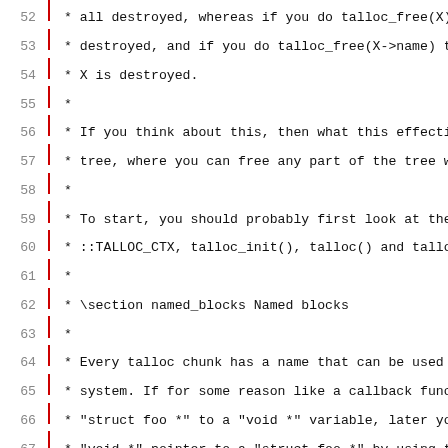Source code listing, lines 52–83, C documentation comments about talloc memory allocation library covering named blocks, type safety macros, and multi-threading.